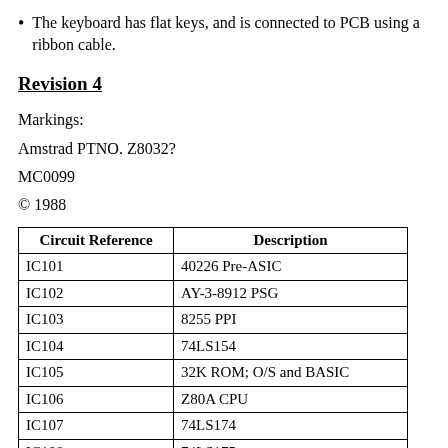The keyboard has flat keys, and is connected to PCB using a ribbon cable.
Revision 4
Markings:
Amstrad PTNO. Z8032?
MC0099
© 1988
| Circuit Reference | Description |
| --- | --- |
| IC101 | 40226 Pre-ASIC |
| IC102 | AY-3-8912 PSG |
| IC103 | 8255 PPI |
| IC104 | 74LS154 |
| IC105 | 32K ROM; O/S and BASIC |
| IC106 | Z80A CPU |
| IC107 | 74LS174 |
| IC108 | 74LS175 |